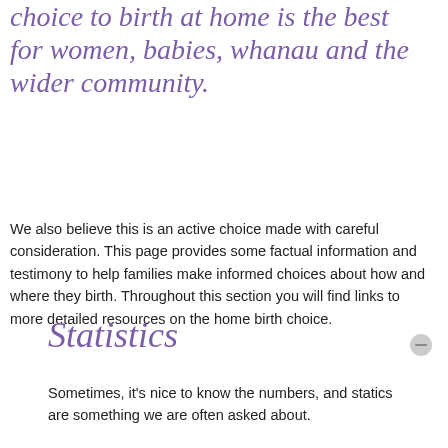choice to birth at home is the best for women, babies, whanau and the wider community.
We also believe this is an active choice made with careful consideration. This page provides some factual information and testimony to help families make informed choices about how and where they birth. Throughout this section you will find links to more detailed resources on the home birth choice.
Statistics
Sometimes, it's nice to know the numbers, and statics are something we are often asked about.